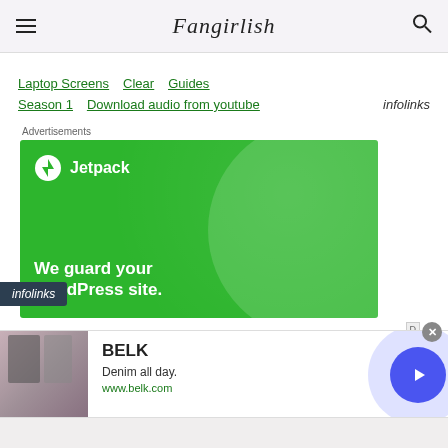Fangirlish
Laptop Screens  Clear  Guides
Season 1  Download audio from youtube  infolinks
Advertisements
[Figure (screenshot): Jetpack advertisement banner with green background, Jetpack logo and tagline 'We guard your WordPress site.']
infolinks
[Figure (screenshot): BELK advertisement: image of women, BELK brand name, 'Denim all day.' tagline, www.belk.com URL, with a circular play button on the right]